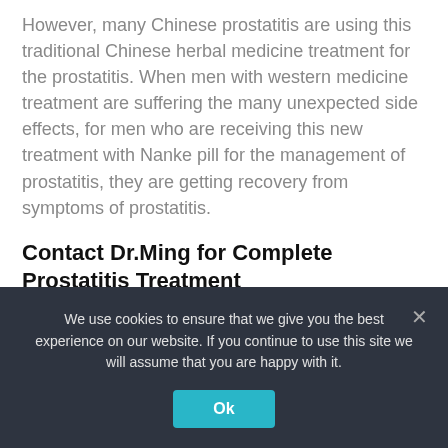However, many Chinese prostatitis are using this traditional Chinese herbal medicine treatment for the prostatitis. When men with western medicine treatment are suffering the many unexpected side effects, for men who are receiving this new treatment with Nanke pill for the management of prostatitis, they are getting recovery from symptoms of prostatitis.
Contact Dr.Ming for Complete Prostatitis Treatment
We use cookies to ensure that we give you the best experience on our website. If you continue to use this site we will assume that you are happy with it.